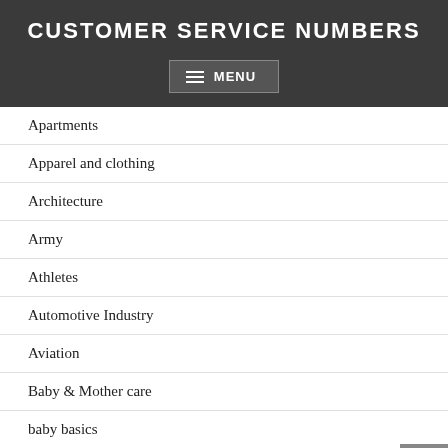CUSTOMER SERVICE NUMBERS
Apartments
Apparel and clothing
Architecture
Army
Athletes
Automotive Industry
Aviation
Baby & Mother care
baby basics
Baby Care
Bands